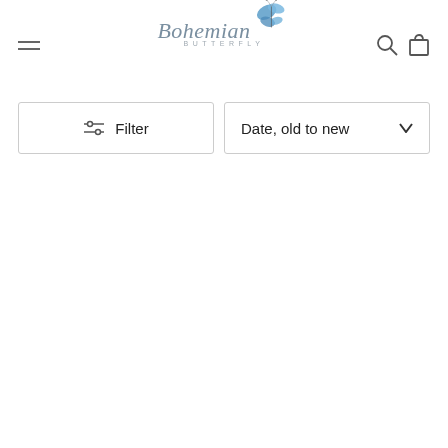Bohemian Butterfly — navigation header with menu icon, logo, search and cart icons
Filter
Date, old to new